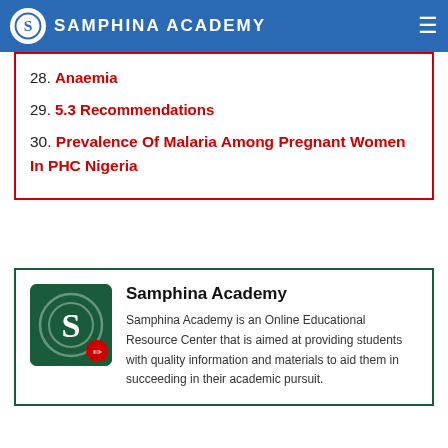SAMPHINA ACADEMY
28. Anaemia
29. 5.3 Recommendations
30. Prevalence Of Malaria Among Pregnant Women In PHC Nigeria
Samphina Academy
Samphina Academy is an Online Educational Resource Center that is aimed at providing students with quality information and materials to aid them in succeeding in their academic pursuit.